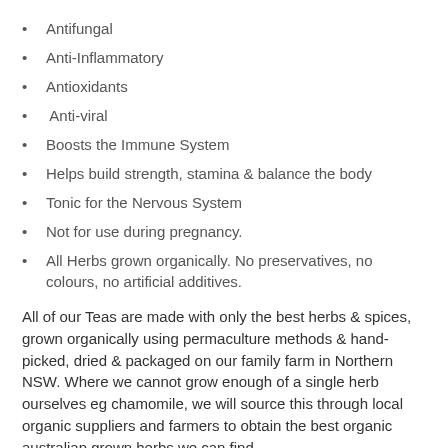Antifungal
Anti-Inflammatory
Antioxidants
Anti-viral
Boosts the Immune System
Helps build strength, stamina & balance the body
Tonic for the Nervous System
Not for use during pregnancy.
All Herbs grown organically. No preservatives, no colours, no artificial additives.
All of our Teas are made with only the best herbs & spices, grown organically using permaculture methods & hand-picked, dried & packaged on our family farm in Northern NSW. Where we cannot grow enough of a single herb ourselves eg chamomile, we will source this through local organic suppliers and farmers to obtain the best organic australian grown herbs we can find.